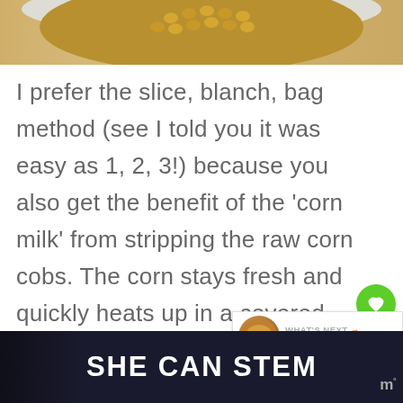[Figure (photo): Top portion of a bowl of corn kernels on a wooden surface, partially cropped]
I prefer the slice, blanch, bag method (see I told you it was easy as 1, 2, 3!) because you also get the benefit of the ‘corn milk’ from stripping the raw corn cobs. The corn stays fresh and quickly heats up in a covered saucepan for an easy side dish.
[Figure (screenshot): Bottom banner with dark background showing text SHE CAN STEM with a logo on the right]